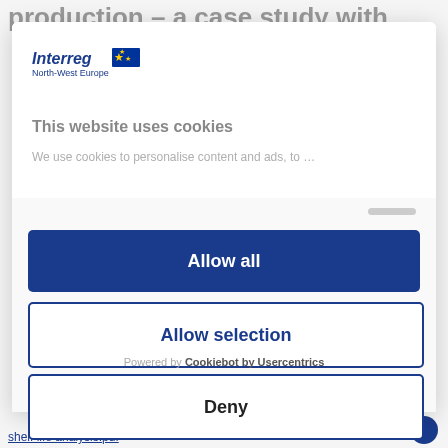production – a case study with
[Figure (logo): Interreg North-West Europe logo with EU flag]
This website uses cookies
We use cookies to personalise content and ads, to …
Allow all
Allow selection
Deny
Powered by Cookiebot by Usercentrics
shelf life analysis.pdf